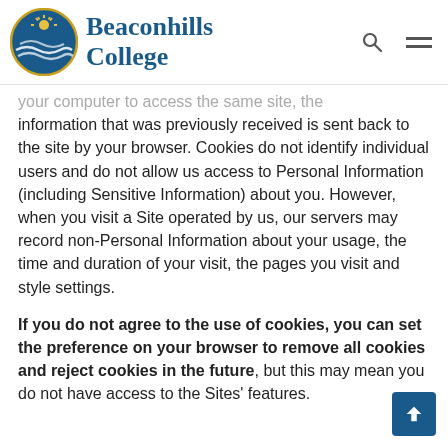Beaconhills College
your computer to access the same site, the information that was previously received is sent back to the site by your browser. Cookies do not identify individual users and do not allow us access to Personal Information (including Sensitive Information) about you. However, when you visit a Site operated by us, our servers may record non-Personal Information about your usage, the time and duration of your visit, the pages you visit and style settings.
If you do not agree to the use of cookies, you can set the preference on your browser to remove all cookies and reject cookies in the future, but this may mean you do not have access to the Sites' features.